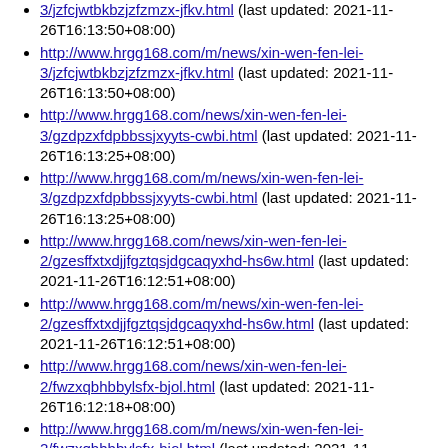http://www.hrgg168.com/m/news/xin-wen-fen-lei-3/jzfcjwtbkbzjzfzmzx-jfkv.html (last updated: 2021-11-26T16:13:50+08:00) — continuation of previous item
http://www.hrgg168.com/m/news/xin-wen-fen-lei-3/jzfcjwtbkbzjzfzmzx-jfkv.html (last updated: 2021-11-26T16:13:50+08:00)
http://www.hrgg168.com/news/xin-wen-fen-lei-3/gzdpzxfdpbbssjxyyts-cwbi.html (last updated: 2021-11-26T16:13:25+08:00)
http://www.hrgg168.com/m/news/xin-wen-fen-lei-3/gzdpzxfdpbbssjxyyts-cwbi.html (last updated: 2021-11-26T16:13:25+08:00)
http://www.hrgg168.com/news/xin-wen-fen-lei-2/gzesffxtxdjjfgztqsjdgcaqyxhd-hs6w.html (last updated: 2021-11-26T16:12:51+08:00)
http://www.hrgg168.com/m/news/xin-wen-fen-lei-2/gzesffxtxdjjfgztqsjdgcaqyxhd-hs6w.html (last updated: 2021-11-26T16:12:51+08:00)
http://www.hrgg168.com/news/xin-wen-fen-lei-2/fwzxqbhbbylsfx-bjol.html (last updated: 2021-11-26T16:12:18+08:00)
http://www.hrgg168.com/m/news/xin-wen-fen-lei-2/fwzxqbhbbylsfx-bjol.html (last updated: 2021-11-26T16:12:18+08:00)
http://www.hrgg168.com/page/fen-lei-2/lian-xi-fang-shi.html (last updated: 2022-06-30T17:23:27+08:00)
(truncated at bottom)